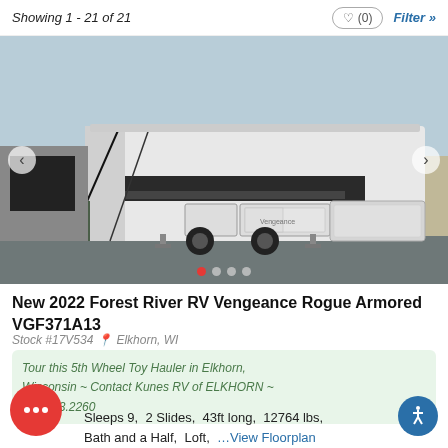Showing 1 - 21 of 21
[Figure (photo): Exterior photo of a 2022 Forest River RV Vengeance Rogue Armored fifth-wheel toy hauler parked in a lot, showing the side with slide-outs and cargo area. Navigation arrows on left and right, four dot pagination indicators at bottom with first dot highlighted red.]
New 2022 Forest River RV Vengeance Rogue Armored VGF371A13
Stock #17V534  Elkhorn, WI
Tour this 5th Wheel Toy Hauler in Elkhorn, Wisconsin ~ Contact Kunes RV of ELKHORN ~ 262.723.2260
Sleeps 9,  2 Slides,  43ft long,  12764 lbs,  Bath and a Half,  Loft,  ...View Floorplan